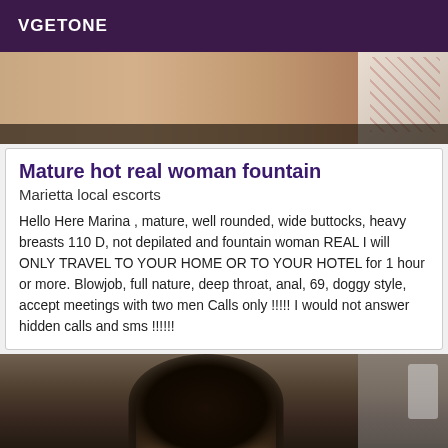VGETONE
[Figure (photo): Top portion of a photo showing a person's torso/body with a floral garment visible on the right side]
Mature hot real woman fountain
Marietta local escorts
Hello Here Marina , mature, well rounded, wide buttocks, heavy breasts 110 D, not depilated and fountain woman REAL I will ONLY TRAVEL TO YOUR HOME OR TO YOUR HOTEL for 1 hour or more. Blowjob, full nature, deep throat, anal, 69, doggy style, accept meetings with two men Calls only !!!!! I would not answer hidden calls and sms !!!!!!
[Figure (photo): Bottom photo showing the back of a person's head with dark hair, partial view of a room with what appears to be a phone or device on the right]